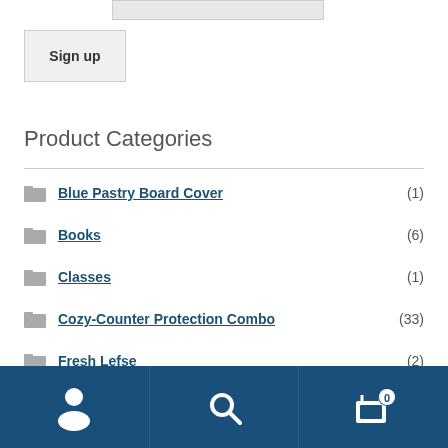[Figure (screenshot): Input field stub at top of page]
Sign up
Product Categories
Blue Pastry Board Cover (1)
Books (6)
Classes (1)
Cozy-Counter Protection Combo (33)
Fresh Lefse (2)
Go Long Lefse Socks (6)
[Figure (screenshot): Dark blue bottom navigation bar with user icon, search icon, and cart icon with badge showing 0]